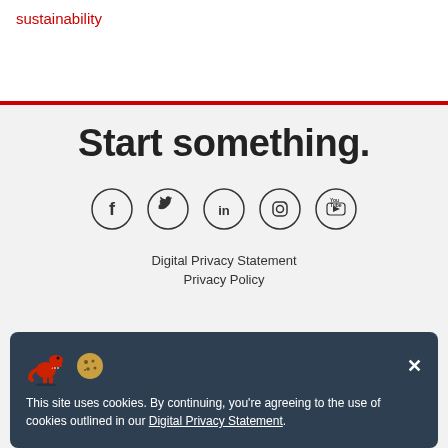sustainability
Start something.
[Figure (illustration): Five social media icons in circles: Facebook (f), Twitter (bird), LinkedIn (in), Instagram (camera), YouTube (play button)]
Digital Privacy Statement
Privacy Policy
This site uses cookies. By continuing, you're agreeing to the use of cookies outlined in our Digital Privacy Statement.